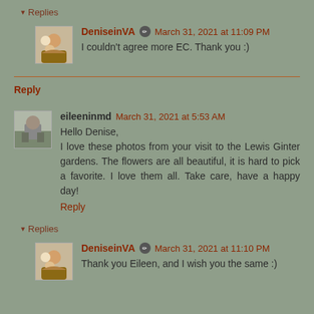▾ Replies
DeniseinVA [edit icon] March 31, 2021 at 11:09 PM
I couldn't agree more EC. Thank you :)
Reply
eileeninmd March 31, 2021 at 5:53 AM
Hello Denise,
I love these photos from your visit to the Lewis Ginter gardens. The flowers are all beautiful, it is hard to pick a favorite. I love them all. Take care, have a happy day!
Reply
▾ Replies
DeniseinVA [edit icon] March 31, 2021 at 11:10 PM
Thank you Eileen, and I wish you the same :)